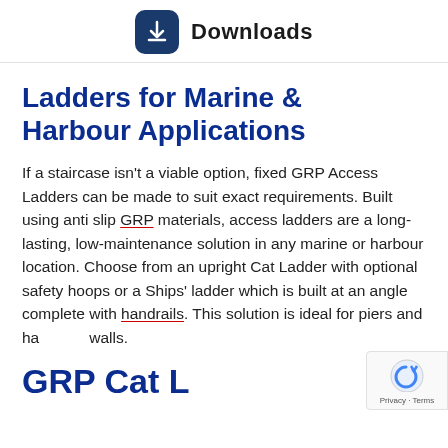Downloads
Ladders for Marine & Harbour Applications
If a staircase isn't a viable option, fixed GRP Access Ladders can be made to suit exact requirements. Built using anti slip GRP materials, access ladders are a long-lasting, low-maintenance solution in any marine or harbour location. Choose from an upright Cat Ladder with optional safety hoops or a Ships' ladder which is built at an angle complete with handrails. This solution is ideal for piers and harbour walls.
GRP Cat Ladder